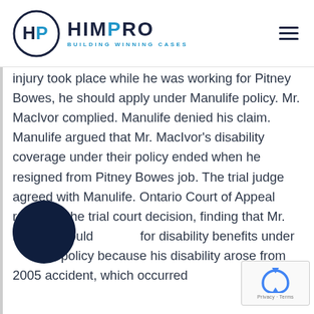HIMPRO - BUILDING WINNING CASES
injury took place while he was working for Pitney Bowes, he should apply under Manulife policy. Mr. MacIvor complied. Manulife denied his claim. Manulife argued that Mr. MacIvor’s disability coverage under their policy ended when he resigned from Pitney Bowes job. The trial judge agreed with Manulife. Ontario Court of Appeal reversed the trial court decision, finding that Mr. MacIvor could for disability benefits under lulife policy because his disability arose from 2005 accident, which occurred